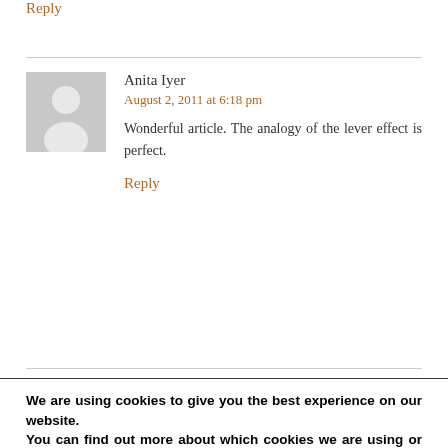Reply
Anita Iyer
August 2, 2011 at 6:18 pm
Wonderful article. The analogy of the lever effect is perfect.
Reply
We are using cookies to give you the best experience on our website.
You can find out more about which cookies we are using or switch them off in settings.
Accept